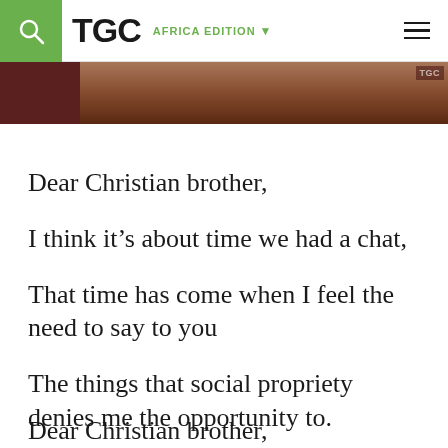TGC AFRICA EDITION
[Figure (photo): Partial hero image of a person, dark reddish-brown background with TGC watermark]
Dear Christian brother,
I think it’s about time we had a chat,
That time has come when I feel the need to say to you
The things that social propriety denies me the opportunity to.
Dear Christian brother,